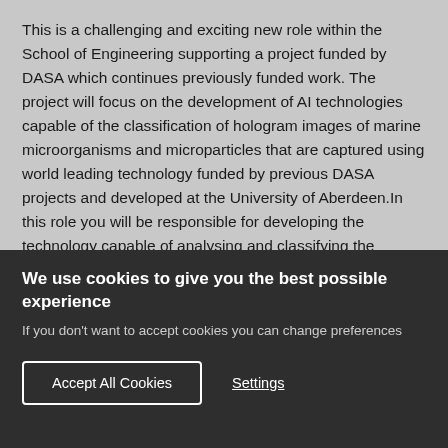This is a challenging and exciting new role within the School of Engineering supporting a project funded by DASA which continues previously funded work. The project will focus on the development of AI technologies capable of the classification of hologram images of marine microorganisms and microparticles that are captured using world leading technology funded by previous DASA projects and developed at the University of Aberdeen.In this role you will be responsible for developing the technology capable of analysing and classifying the images in real time. This will likely require the exploitation of recent developments in AI and Deep Learning in particular
We use cookies to give you the best possible experience
If you don't want to accept cookies you can change preferences
Accept All Cookies
Settings